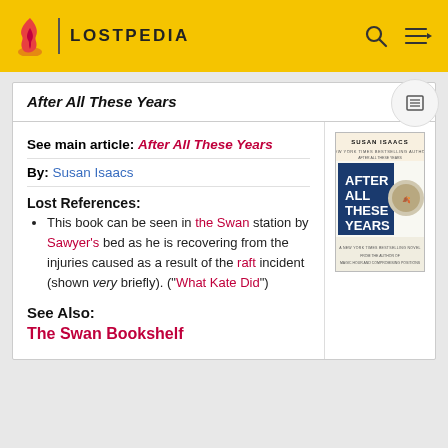LOSTPEDIA
After All These Years
See main article: After All These Years
By: Susan Isaacs
Lost References:
This book can be seen in the Swan station by Sawyer's bed as he is recovering from the injuries caused as a result of the raft incident (shown very briefly). ("What Kate Did")
See Also:
The Swan Bookshelf
[Figure (illustration): Book cover of 'After All These Years' by Susan Isaacs, showing the title in blue text on a white background with an image.]